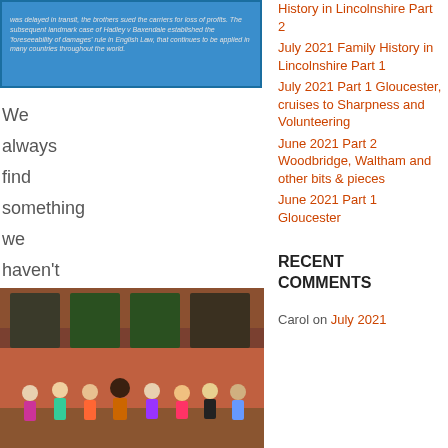[Figure (photo): Blue heritage plaque with white italic text about carriers being sued and the Hadley v Baxendale landmark case establishing the foreseeability of damages rule in English Law.]
We always find something we haven't noticed previously
[Figure (photo): Group of people in colorful costumes standing in front of a red brick building with green doors.]
History in Lincolnshire Part 2
July 2021 Family History in Lincolnshire Part 1
July 2021 Part 1 Gloucester, cruises to Sharpness and Volunteering
June 2021 Part 2 Woodbridge, Waltham and other bits & pieces
June 2021 Part 1 Gloucester
RECENT COMMENTS
Carol on July 2021